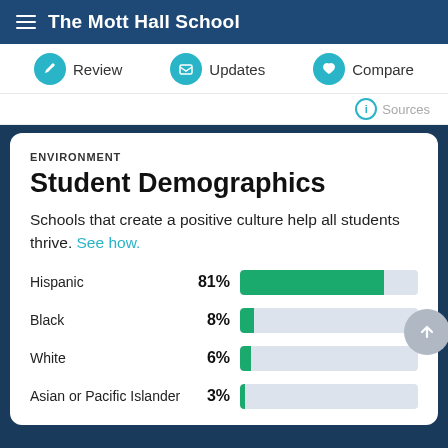The Mott Hall School
Review | Updates | Compare
Sources
ENVIRONMENT
Student Demographics
Schools that create a positive culture help all students thrive. See how.
[Figure (bar-chart): Student Demographics]